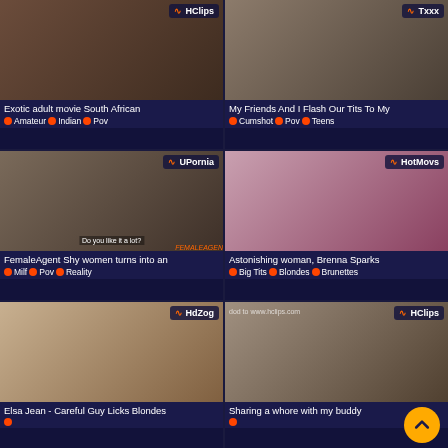[Figure (screenshot): Thumbnail grid of video content with titles and tags. Six video thumbnails in a 2x3 grid layout on a dark navy background.]
Exotic adult movie South African
Amateur  Indian  Pov
My Friends And I Flash Our Tits To My
Cumshot  Pov  Teens
FemaleAgent Shy women turns into an
Milf  Pov  Reality
Astonishing woman, Brenna Sparks
Big Tits  Blondes  Brunettes
Elsa Jean - Careful Guy Licks Blondes
Sharing a whore with my buddy